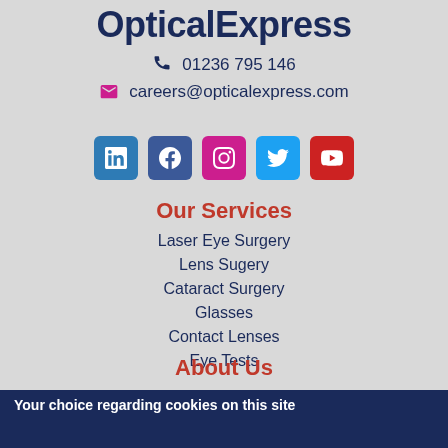OpticalExpress
01236 795 146
careers@opticalexpress.com
[Figure (infographic): Row of 5 social media icon buttons: LinkedIn (blue), Facebook (dark blue), Instagram (pink/magenta), Twitter (light blue), YouTube (red)]
Our Services
Laser Eye Surgery
Lens Sugery
Cataract Surgery
Glasses
Contact Lenses
Eye Tests
About Us
Your choice regarding cookies on this site